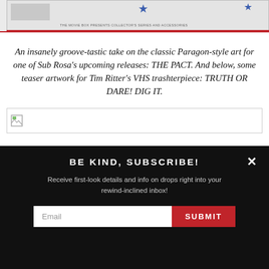[Figure (illustration): Partial view of a VHS/retro-style artwork banner with decorative stars and a red stripe, top of page cut off]
An insanely groove-tastic take on the classic Paragon-style art for one of Sub Rosa's upcoming releases: THE PACT. And below, some teaser artwork for Tim Ritter's VHS trashterpiece: TRUTH OR DARE! DIG IT.
[Figure (illustration): Broken/missing image placeholder for teaser artwork for TRUTH OR DARE!]
BE KIND, SUBSCRIBE!
Receive first-look details and info on drops right into your rewind-inclined inbox!